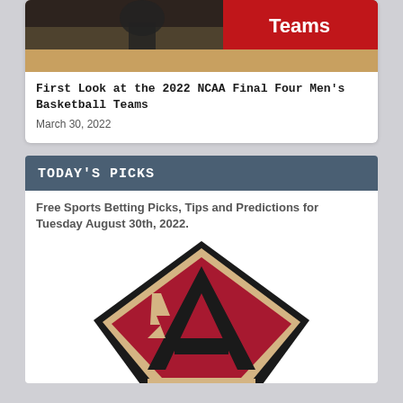[Figure (photo): Basketball game photo with red banner showing 'Teams' text at top of card]
First Look at the 2022 NCAA Final Four Men's Basketball Teams
March 30, 2022
TODAY'S PICKS
Free Sports Betting Picks, Tips and Predictions for Tuesday August 30th, 2022.
[Figure (logo): Arizona Diamondbacks logo - large stylized letter A in red, black and cream/tan colors]